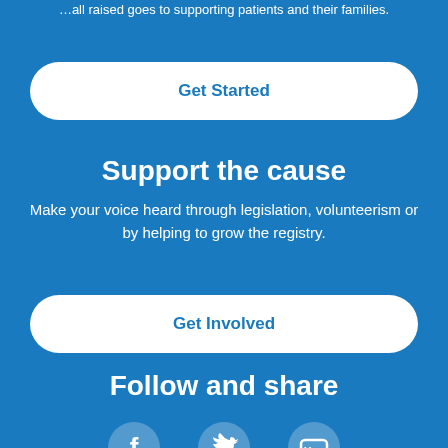…all raised goes to supporting patients and their families.
Get Started
Support the cause
Make your voice heard through legislation, volunteerism or by helping to grow the registry.
Get Involved
Follow and share
[Figure (illustration): Social media icons: Facebook, Twitter, YouTube]